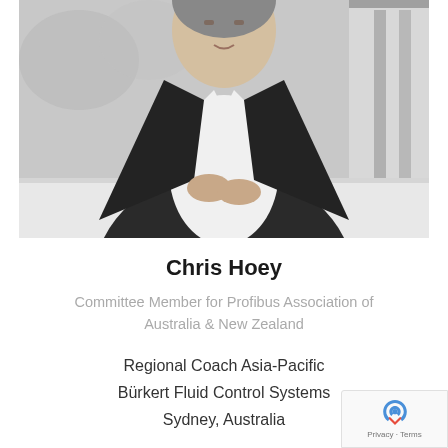[Figure (photo): Black and white portrait photo of Chris Hoey, a man in a dark blazer and light shirt, seated at a table with hands folded, with a window/door visible in the background.]
Chris Hoey
Committee Member for Profibus Association of Australia & New Zealand
Regional Coach Asia-Pacific
Bürkert Fluid Control Systems
Sydney, Australia